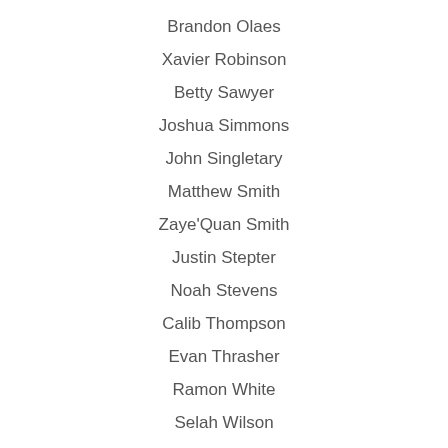Brandon Olaes
Xavier Robinson
Betty Sawyer
Joshua Simmons
John Singletary
Matthew Smith
Zaye'Quan Smith
Justin Stepter
Noah Stevens
Calib Thompson
Evan Thrasher
Ramon White
Selah Wilson